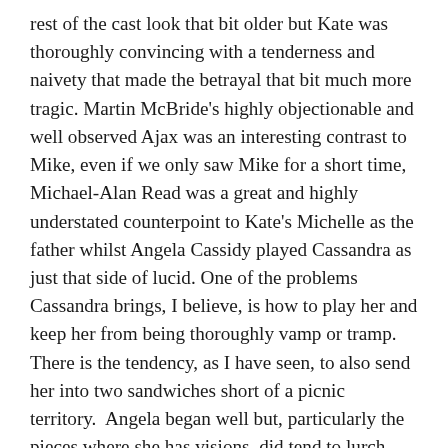rest of the cast look that bit older but Kate was thoroughly convincing with a tenderness and naivety that made the betrayal that bit much more tragic. Martin McBride's highly objectionable and well observed Ajax was an interesting contrast to Mike, even if we only saw Mike for a short time, Michael-Alan Read was a great and highly understated counterpoint to Kate's Michelle as the father whilst Angela Cassidy played Cassandra as just that side of lucid. One of the problems Cassandra brings, I believe, is how to play her and keep her from being thoroughly vamp or tramp. There is the tendency, as I have seen, to also send her into two sandwiches short of a picnic territory.  Angela began well but, particularly the pieces where she has visions, did tend to lurch into confusion.
The play has been directed for a park, a multicultural centre and a church. The church works wonderfully